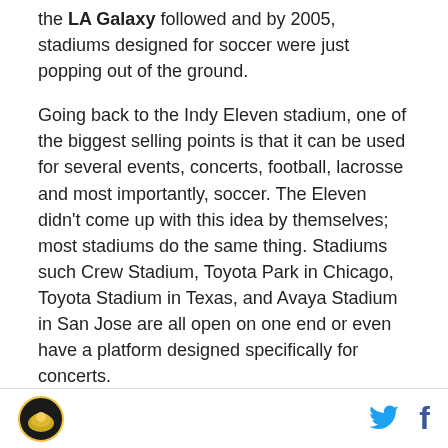the LA Galaxy followed and by 2005, stadiums designed for soccer were just popping out of the ground.
Going back to the Indy Eleven stadium, one of the biggest selling points is that it can be used for several events, concerts, football, lacrosse and most importantly, soccer. The Eleven didn't come up with this idea by themselves; most stadiums do the same thing. Stadiums such Crew Stadium, Toyota Park in Chicago, Toyota Stadium in Texas, and Avaya Stadium in San Jose are all open on one end or even have a platform designed specifically for concerts.
Having flexibility to schedule their own events and not
[logo] [twitter] [facebook]